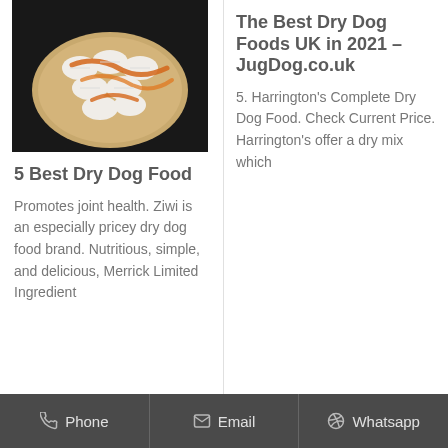[Figure (photo): A wooden plate with white dumplings/pastries topped with orange sauce on a dark background]
5 Best Dry Dog Food
Promotes joint health. Ziwi is an especially pricey dry dog food brand. Nutritious, simple, and delicious, Merrick Limited Ingredient
The Best Dry Dog Foods UK in 2021 – JugDog.co.uk
5. Harrington's Complete Dry Dog Food. Check Current Price. Harrington's offer a dry mix which
Phone   Email   Whatsapp